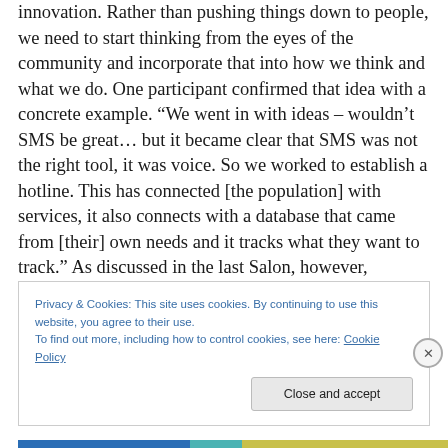innovation. Rather than pushing things down to people, we need to start thinking from the eyes of the community and incorporate that into how we think and what we do. One participant confirmed that idea with a concrete example. “We went in with ideas – wouldn’t SMS be great… but it became clear that SMS was not the right tool, it was voice. So we worked to establish a hotline. This has connected [the population] with services, it also connects with a database that came from [their] own needs and it tracks what they want to track.” As discussed in the last Salon, however, incentive and motivation are critical. “Early on,
Privacy & Cookies: This site uses cookies. By continuing to use this website, you agree to their use.
To find out more, including how to control cookies, see here: Cookie Policy